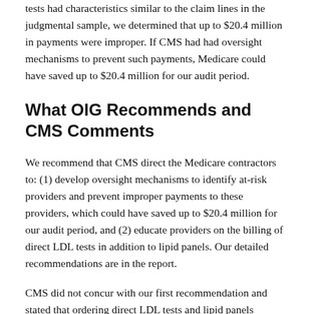tests had characteristics similar to the claim lines in the judgmental sample, we determined that up to $20.4 million in payments were improper. If CMS had had oversight mechanisms to prevent such payments, Medicare could have saved up to $20.4 million for our audit period.
What OIG Recommends and CMS Comments
We recommend that CMS direct the Medicare contractors to: (1) develop oversight mechanisms to identify at-risk providers and prevent improper payments to these providers, which could have saved up to $20.4 million for our audit period, and (2) educate providers on the billing of direct LDL tests in addition to lipid panels. Our detailed recommendations are in the report.
CMS did not concur with our first recommendation and stated that ordering direct LDL tests and lipid panels